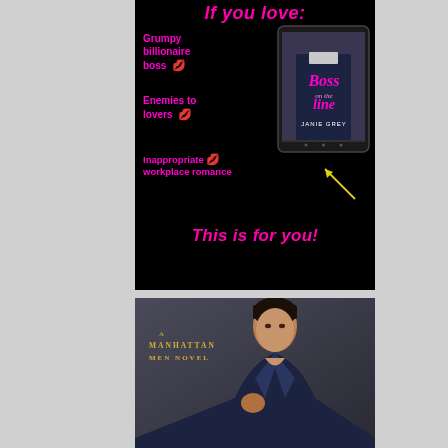[Figure (infographic): Black background promotional card for 'Boss on the Line' by Janie Grey. Text reads 'If you love:' at top in pink italic, then lists 'Grumpy billionaire boss', 'Enemies to lovers', 'Inappropriate workplace romance' in pink with lip emojis, a tablet showing the book cover, an arrow pointing to the cover, and 'This is for you!' at the bottom in large pink italic text.]
[Figure (photo): Book cover for a Manhattan Men Novel — shows a handsome dark-haired young man, shirtless, pulling open a jacket, with 'A MANHATTAN MEN NOVEL' text overlaid in gold/yellow serif font on a dark background.]